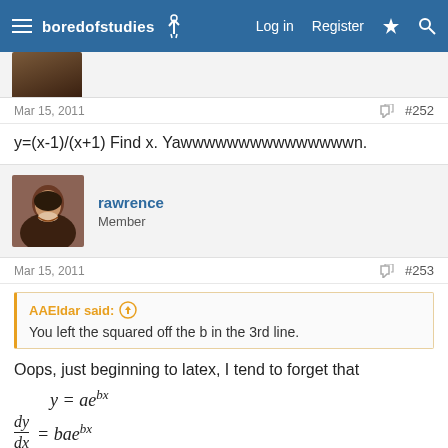boredofstudies — Log in  Register
[Figure (photo): Partial avatar image at top of page]
Mar 15, 2011   #252
y=(x-1)/(x+1) Find x. Yawwwwwwwwwwwwwwwn.
[Figure (photo): Avatar photo of user rawrence — smiling man in suit]
rawrence
Member
Mar 15, 2011   #253
AAEldar said: ↑
You left the squared off the b in the 3rd line.
Oops, just beginning to latex, I tend to forget that